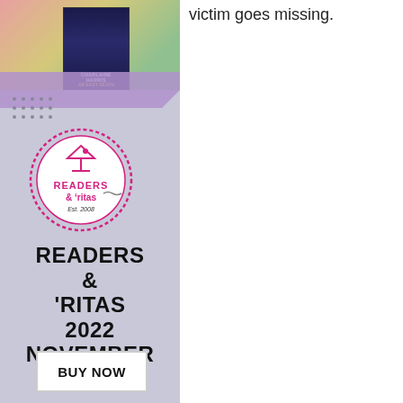victim goes missing.
[Figure (logo): Readers & 'ritas circular logo with martini glass icon, Est. 2008, pink dashed border]
READERS & 'RITAS 2022 NOVEMBER 12TH
BUY NOW